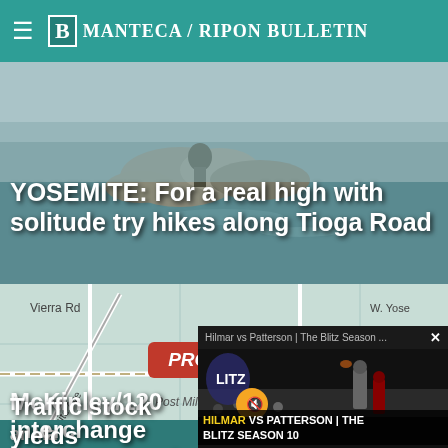Manteca / Ripon Bulletin
[Figure (photo): Outdoor scene with person near rocks/water, Yosemite hiking imagery]
YOSEMITE: For a real high with solitude try hikes along Tioga Road
[Figure (map): Map showing McKinley/120 interchange area with roads Vierra Rd, Yosemite Ave, W. Yose, Wawona, and a red PROJECT label, Post Mile -2.2/2.2]
McKinley/120 interchange breaks ground on Thursday
[Figure (photo): Football game photo - Hilmar vs Patterson, The Blitz Season 10, with video popup overlay showing football action]
Traffic stock yields
Hilmar vs Patterson | The Blitz Season ...
HILMAR VS PATTERSON | THE BLITZ SEASON 10